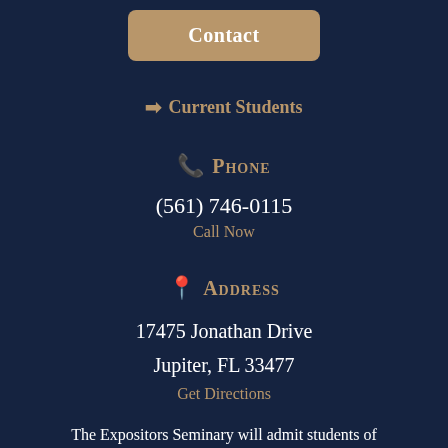Contact
➡ Current Students
📞 Phone
(561) 746-0115
Call Now
📍 Address
17475 Jonathan Drive
Jupiter, FL 33477
Get Directions
The Expositors Seminary will admit students of